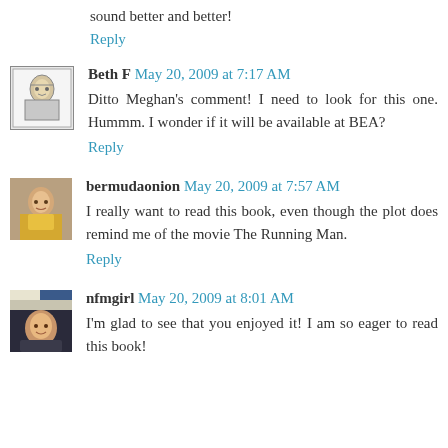sound better and better!
Reply
Beth F  May 20, 2009 at 7:17 AM
Ditto Meghan's comment! I need to look for this one. Hummm. I wonder if it will be available at BEA?
Reply
bermudaonion  May 20, 2009 at 7:57 AM
I really want to read this book, even though the plot does remind me of the movie The Running Man.
Reply
nfmgirl  May 20, 2009 at 8:01 AM
I'm glad to see that you enjoyed it! I am so eager to read this book!